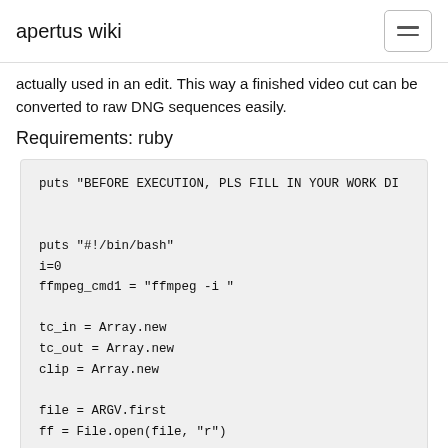apertus wiki
actually used in an edit. This way a finished video cut can be converted to raw DNG sequences easily.
Requirements: ruby
[Figure (screenshot): Code block showing Ruby script with puts, i=0, ffmpeg_cmd1, tc_in, tc_out, clip arrays and file/ff variables]